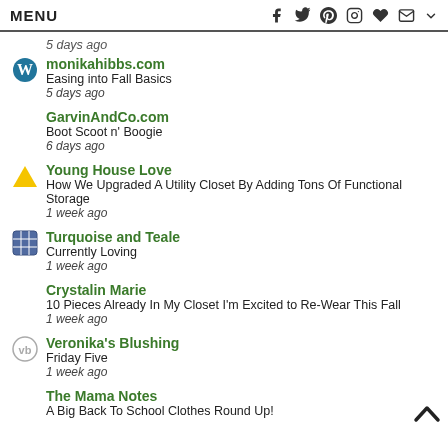MENU
5 days ago
monikahibbs.com
Easing into Fall Basics
5 days ago
GarvinAndCo.com
Boot Scoot n' Boogie
6 days ago
Young House Love
How We Upgraded A Utility Closet By Adding Tons Of Functional Storage
1 week ago
Turquoise and Teale
Currently Loving
1 week ago
Crystalin Marie
10 Pieces Already In My Closet I'm Excited to Re-Wear This Fall
1 week ago
Veronika's Blushing
Friday Five
1 week ago
The Mama Notes
A Big Back To School Clothes Round Up!